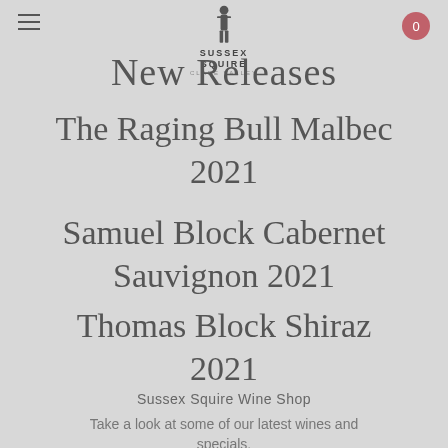Sussex Squire Clare Valley — New Releases
New Releases
The Raging Bull Malbec 2021
Samuel Block Cabernet Sauvignon 2021
Thomas Block Shiraz 2021
Sussex Squire Wine Shop
Take a look at some of our latest wines and specials.